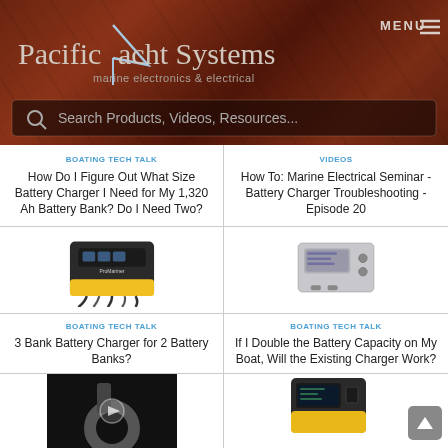[Figure (logo): Pacific Yacht Systems logo with sailboat graphic and text 'marine electronics & electrical' on dark wood-grain background with MENU button]
Search Products, Videos, Resources...
BOATING TECH TALK
How Do I Figure Out What Size Battery Charger I Need for My 1,320 Ah Battery Bank? Do I Need Two?
VIDEOS
How To: Marine Electrical Seminar - Battery Charger Troubleshooting - Episode 20
[Figure (photo): Yellow and black ProMariner battery charger with multiple cable outputs]
[Figure (photo): Grey rectangular marine battery charger device]
BOATING TECH TALK
3 Bank Battery Charger for 2 Battery Banks?
BOATING TECH TALK
If I Double the Battery Capacity on My Boat, Will the Existing Charger Work?
[Figure (photo): Dark video thumbnail showing marine equipment]
[Figure (photo): Yellow and black battery charger device partially visible]